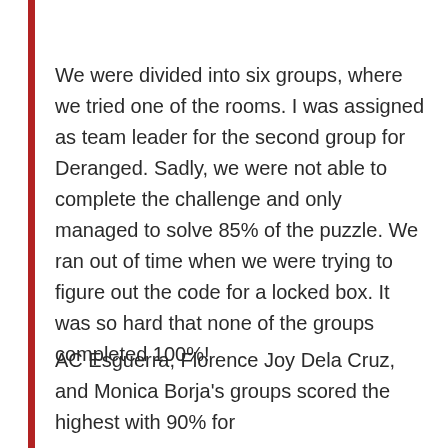We were divided into six groups, where we tried one of the rooms. I was assigned as team leader for the second group for Deranged. Sadly, we were not able to complete the challenge and only managed to solve 85% of the puzzle. We ran out of time when we were trying to figure out the code for a locked box. It was so hard that none of the groups completed 100%!
AC Esguerra, Florence Joy Dela Cruz, and Monica Borja's groups scored the highest with 90% for